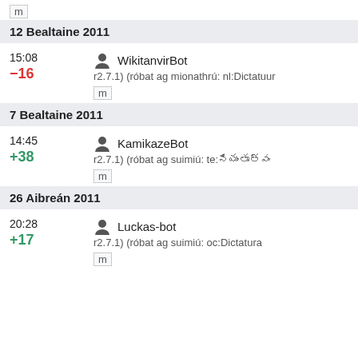m
12 Bealtaine 2011
15:08 WikitanvirBot −16 r2.7.1) (róbat ag mionathrú: nl:Dictatuur m
7 Bealtaine 2011
14:45 KamikazeBot +38 r2.7.1) (róbat ag suimiú: te:నియంతృత్వం m
26 Aibreán 2011
20:28 Luckas-bot +17 r2.7.1) (róbat ag suimiú: oc:Dictatura m